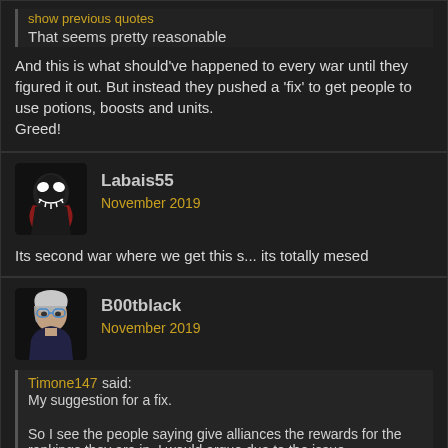show previous quotes
That seems pretty reasonable
And this is what should've happened to every war until they figured it out. But instead they pushed a 'fix' to get people to use potions, boosts and units.
Greed!
Labais55
November 2019
Its second war where we get this s... its totally mesed
B00tblack
November 2019
Timone147 said:
My suggestion for a fix.

So I see the people saying give alliances the rewards for the rankings they are in. I would argue due to the issue